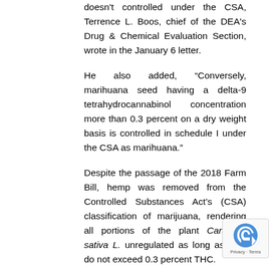doesn't controlled under the CSA, Terrence L. Boos, chief of the DEA's Drug & Chemical Evaluation Section, wrote in the January 6 letter.
He also added, “Conversely, marihuana seed having a delta-9 tetrahydrocannabinol concentration more than 0.3 percent on a dry weight basis is controlled in schedule I under the CSA as marihuana.”
Despite the passage of the 2018 Farm Bill, hemp was removed from the Controlled Substances Act’s (CSA) classification of marijuana, rendering all portions of the plant Cannabis sativa L. unregulated as long as they do not exceed 0.3 percent THC.